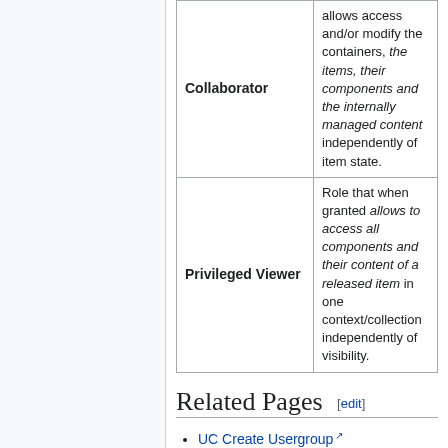| Role | Description |
| --- | --- |
| Collaborator | allows access and/or modify the containers, the items, their components and the internally managed content independently of item state. |
| Privileged Viewer | Role that when granted allows to access all components and their content of a released item in one context/collection independently of visibility. |
Related Pages [edit]
UC Create Usergroup